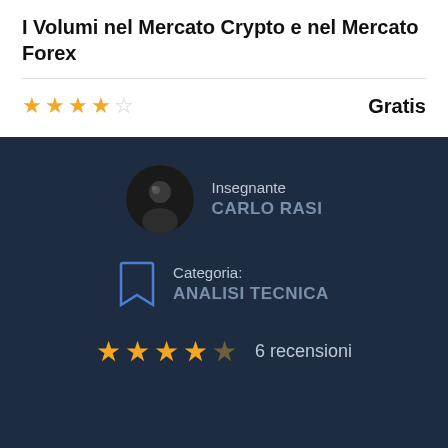I Volumi nel Mercato Crypto e nel Mercato Forex
★★★★☆  Gratis
Insegnante CARLO RASI
Categoria: ANALISI TECNICA
★★★★☆  6 recensioni